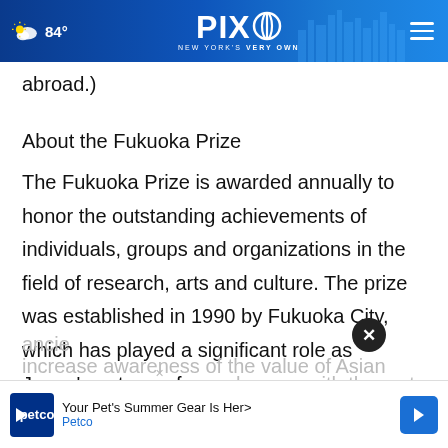PIX11 NEW YORK'S VERY OWN — 84°
abroad.)
About the Fukuoka Prize
The Fukuoka Prize is awarded annually to honor the outstanding achievements of individuals, groups and organizations in the field of research, arts and culture. The prize was established in 1990 by Fukuoka City, which has played a significant role as Japan's gateway for exchanges with the rest of the Asian region since ancie… increase awareness of the value of Asian
[Figure (screenshot): Petco advertisement banner: 'Your Pet's Summer Gear Is Here' with Petco logo and blue arrow icon]